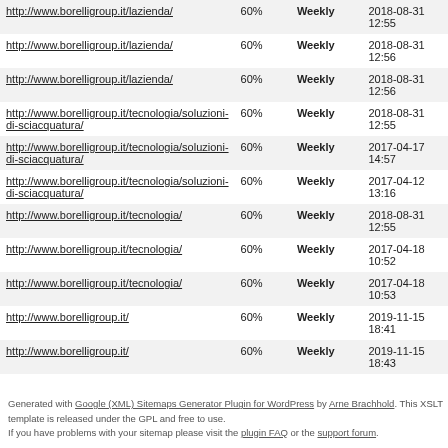| URL | Priority | Change Freq | LastMod |
| --- | --- | --- | --- |
| http://www.borelligroup.it/lazienda/ | 60% | Weekly | 2018-08-31 12:55 |
| http://www.borelligroup.it/lazienda/ | 60% | Weekly | 2018-08-31 12:56 |
| http://www.borelligroup.it/lazienda/ | 60% | Weekly | 2018-08-31 12:56 |
| http://www.borelligroup.it/tecnologia/soluzioni-di-sciacquatura/ | 60% | Weekly | 2018-08-31 12:55 |
| http://www.borelligroup.it/tecnologia/soluzioni-di-sciacquatura/ | 60% | Weekly | 2017-04-17 14:57 |
| http://www.borelligroup.it/tecnologia/soluzioni-di-sciacquatura/ | 60% | Weekly | 2017-04-12 13:16 |
| http://www.borelligroup.it/tecnologia/ | 60% | Weekly | 2018-08-31 12:55 |
| http://www.borelligroup.it/tecnologia/ | 60% | Weekly | 2017-04-18 10:52 |
| http://www.borelligroup.it/tecnologia/ | 60% | Weekly | 2017-04-18 10:53 |
| http://www.borelligroup.it/ | 60% | Weekly | 2019-11-15 18:41 |
| http://www.borelligroup.it/ | 60% | Weekly | 2019-11-15 18:43 |
Generated with Google (XML) Sitemaps Generator Plugin for WordPress by Arne Brachhold. This XSLT template is released under the GPL and free to use.
If you have problems with your sitemap please visit the plugin FAQ or the support forum.